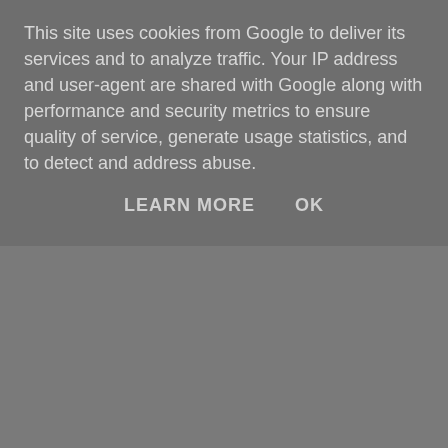This site uses cookies from Google to deliver its services and to analyze traffic. Your IP address and user-agent are shared with Google along with performance and security metrics to ensure quality of service, generate usage statistics, and to detect and address abuse.
LEARN MORE    OK
vital, engrossing and utterly compelling, 'The Help' is a book I'd urge anyone to read.